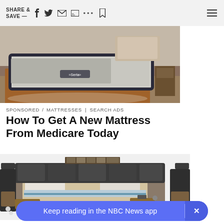SHARE & SAVE —
[Figure (photo): Close-up photo of a Serta mattress on a wooden bed frame in a bedroom setting]
SPONSORED / MATTRESSES | SEARCH ADS
How To Get A New Mattress From Medicare Today
[Figure (photo): Photo of a modern multifunctional bed with dark upholstery, built-in storage, side tables, and sofa-style headboard]
Keep reading in the NBC News app  ×